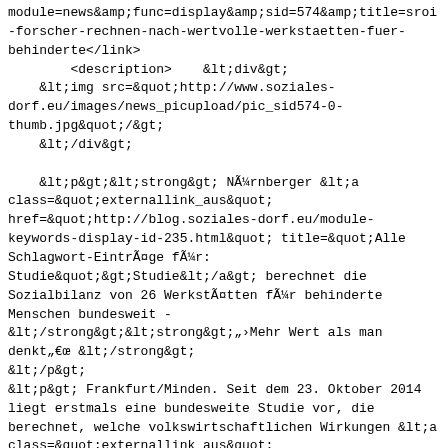module=news&amp;func=display&amp;sid=574&amp;title=sroi-forscher-rechnen-nach-wertvolle-werkstaetten-fuer-behinderte</link>
        <description>    &lt;div&gt;
    &lt;img src=&quot;http://www.soziales-dorf.eu/images/news_picupload/pic_sid574-0-thumb.jpg&quot;/&gt;
    &lt;/div&gt;

    &lt;p&gt;&lt;strong&gt; Nürnberger &lt;a class=&quot;externallink_aus&quot; href=&quot;http://blog.soziales-dorf.eu/module-keywords-display-id-235.html&quot; title=&quot;Alle Schlagwort-Einträge für: Studie&quot;&gt;Studie&lt;/a&gt; berechnet die Sozialbilanz von 26 Werkstätten für behinderte Menschen bundesweit - &lt;/strong&gt;&lt;strong&gt;&#x201ezMehr Wert als man denkt&#x201e; &lt;/strong&gt;
&lt;/p&gt;
&lt;p&gt; Frankfurt/Minden. Seit dem 23. Oktober 2014 liegt erstmals eine bundesweite Studie vor, die berechnet, welche volkswirtschaftlichen Wirkungen &lt;a class=&quot;externallink_aus&quot; href=&quot;http://www.soziales-dorf.eu/module-keywords-display-id-840.html&quot; title=&quot;Alle Schlagwort-Einträge für gemeinnützig&quot;&gt;gemeinnützige&lt;/a&gt; Werkstätten für behinderte Menschen erzeugen.
    &lt;br /&gt;Die Ergebnisse belegen: Sozialausgaben